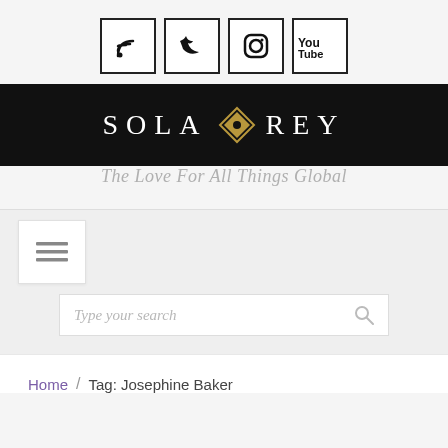[Figure (logo): Social media icon buttons: RSS feed, Twitter bird, Instagram camera, YouTube logo — each in a bordered square box]
[Figure (logo): SOLA REY website logo on black background with decorative diamond ornament between words]
The Love For All Things Global
[Figure (other): Hamburger menu icon (three horizontal lines) in white box]
[Figure (other): Search bar with placeholder text 'Type your search' and magnifying glass icon]
Home / Tag: Josephine Baker